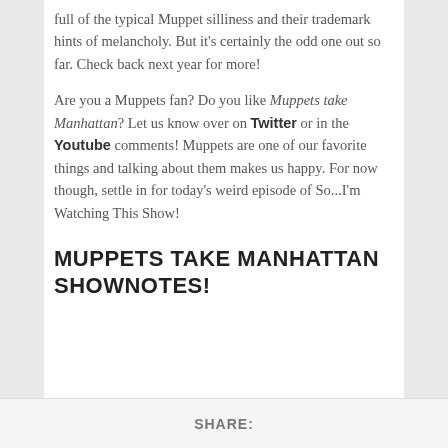full of the typical Muppet silliness and their trademark hints of melancholy. But it's certainly the odd one out so far. Check back next year for more!
Are you a Muppets fan? Do you like Muppets take Manhattan? Let us know over on Twitter or in the Youtube comments! Muppets are one of our favorite things and talking about them makes us happy. For now though, settle in for today's weird episode of So...I'm Watching This Show!
MUPPETS TAKE MANHATTAN SHOWNOTES!
SHARE: